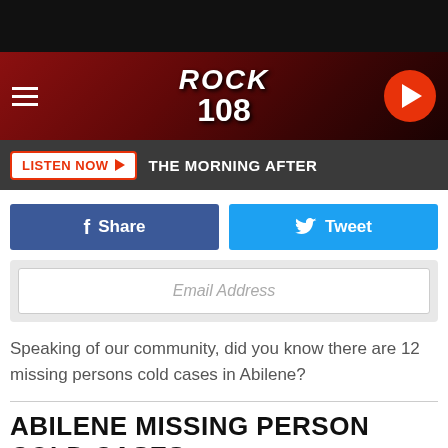[Figure (screenshot): Rock 108 radio station navigation bar with hamburger menu, Rock 108 logo, and play button]
LISTEN NOW ▶  THE MORNING AFTER
[Figure (infographic): Social share buttons: Facebook Share and Twitter Tweet]
[Figure (infographic): Email address input field]
Speaking of our community, did you know there are 12 missing persons cold cases in Abilene?
ABILENE MISSING PERSON COLD CASES
Here are 12 cold cases of missing persons who were last